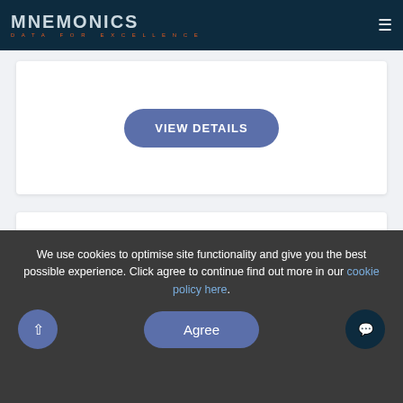MNEMONICS DATA FOR EXCELLENCE
[Figure (screenshot): White card with VIEW DETAILS button in blue-purple rounded pill style]
[Figure (logo): Card showing TA purple logo box and Mnemonics Data for Excellence logo side by side]
We use cookies to optimise site functionality and give you the best possible experience. Click agree to continue find out more in our cookie policy here.
[Figure (screenshot): Cookie consent bar with up arrow button, Agree button, and chat bubble button]